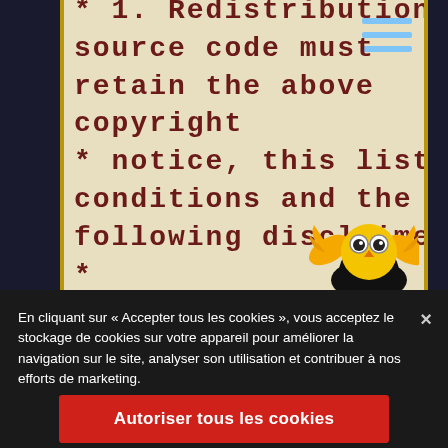* 1. Redistributions of source code must retain the above copyright * notice, this list of conditions and the following disclaimer. * * 2. Redistributions in
[Figure (illustration): Cartoon owl mascot with golden wings and round body on a black shield/badge]
En cliquant sur « Accepter tous les cookies », vous acceptez le stockage de cookies sur votre appareil pour améliorer la navigation sur le site, analyser son utilisation et contribuer à nos efforts de marketing.
Autoriser tous les cookies